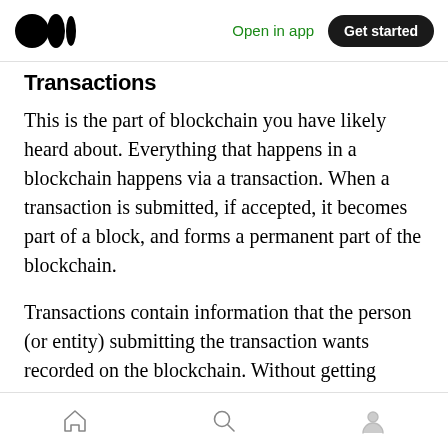Medium app header with logo, Open in app, Get started
Transactions
This is the part of blockchain you have likely heard about. Everything that happens in a blockchain happens via a transaction. When a transaction is submitted, if accepted, it becomes part of a block, and forms a permanent part of the blockchain.
Transactions contain information that the person (or entity) submitting the transaction wants recorded on the blockchain. Without getting overly technical, each blockchain transaction contains: to. from. amount. and
Bottom navigation bar with home, search, and profile icons